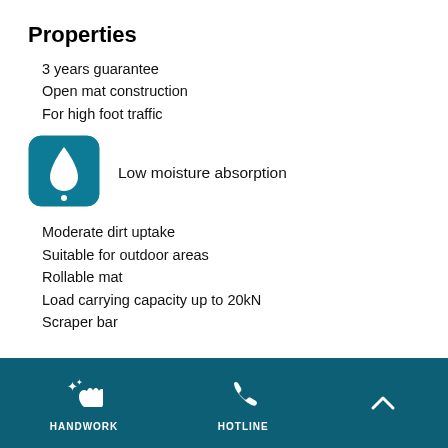Properties
3 years guarantee
Open mat construction
For high foot traffic
[Figure (illustration): Water drop icon in a teal rounded square with a small circle below, indicating low moisture absorption]
Low moisture absorption
Moderate dirt uptake
Suitable for outdoor areas
Rollable mat
Load carrying capacity up to 20kN
Scraper bar
Dimensioned drawing
HANDWORK   HOTLINE